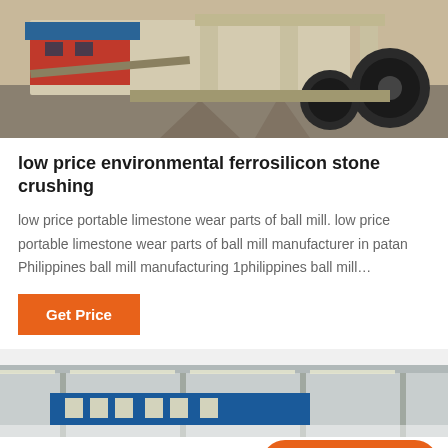[Figure (photo): Industrial stone crushing equipment / mobile crusher on a concrete floor, machinery with large tires and structural steel frame]
low price environmental ferrosilicon stone crushing
low price portable limestone wear parts of ball mill. low price portable limestone wear parts of ball mill manufacturer in patan Philippines ball mill manufacturing 1philippines ball mill…
Get Price
[Figure (photo): Factory interior with blue safety signage in Chinese characters, ceiling beams and lights visible]
Leave Message
Chat Online